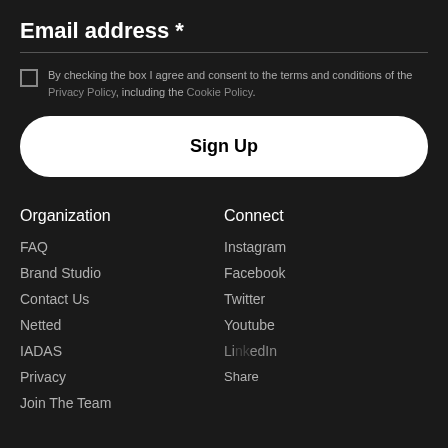Email address *
By checking the box I agree and consent to the terms and conditions of the Privacy Policy, including the Cookie Policy.
Sign Up
Organization
Connect
FAQ
Instagram
Brand Studio
Facebook
Contact Us
Twitter
Netted
Youtube
IADAS
LinkedIn
Privacy
Share
Join The Team